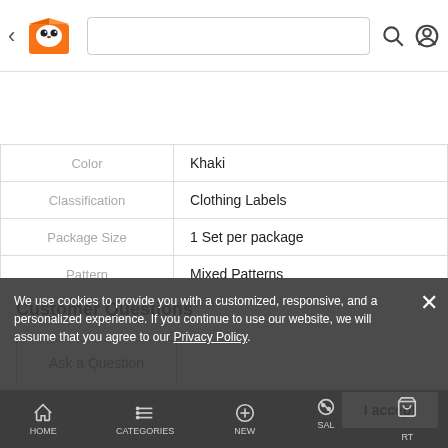Navigation bar with back arrow, panda box logo, search bar, search icon, account icon
| Attribute | Value |
| --- | --- |
| Color | Khaki |
| Classification | Clothing Labels |
| Package Size | 1 Set per package |
| Pattern | Mixed Patterns |
Customer Questions
Ask a Question
We use cookies to provide you with a customized, responsive, and a personalized experience. If you continue to use our website, we will assume that you agree to our Privacy Policy.
HOME   CATEGORIES   NEW   SALE   CART